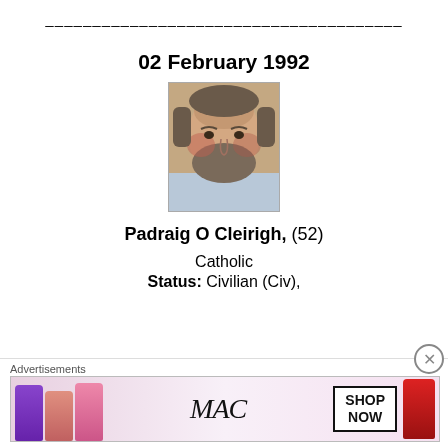--------------------------------------
02 February 1992
[Figure (photo): Portrait photo of Padraig O Cleirigh, a middle-aged man with a beard.]
Padraig O Cleirigh,  (52)
Catholic
Status: Civilian (Civ),
Advertisements